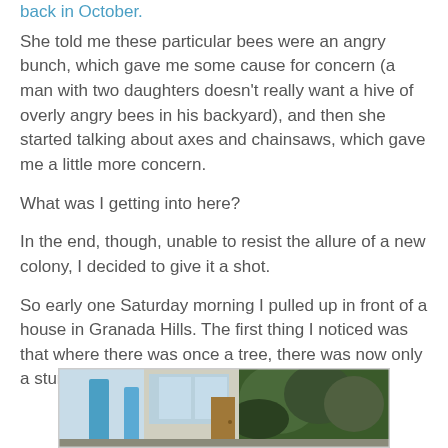back in October.
She told me these particular bees were an angry bunch, which gave me some cause for concern (a man with two daughters doesn't really want a hive of overly angry bees in his backyard), and then she started talking about axes and chainsaws, which gave me a little more concern.
What was I getting into here?
In the end, though, unable to resist the allure of a new colony, I decided to give it a shot.
So early one Saturday morning I pulled up in front of a house in Granada Hills. The first thing I noticed was that where there was once a tree, there was now only a stump.
[Figure (photo): Photo of a house exterior in Granada Hills showing blue structural elements on the left and green foliage/bushes on the right, with what appears to be a door in the middle background.]